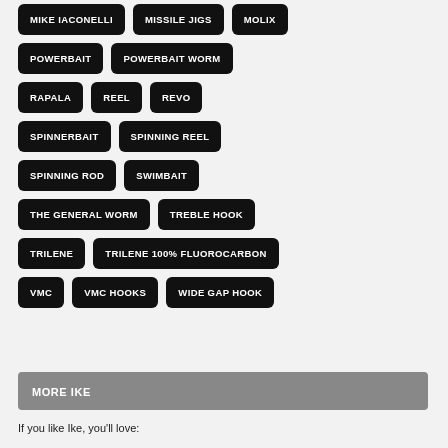MIKE IACONELLI
MISSILE JIGS
MOLIX
POWERBAIT
POWERBAIT WORM
RAPALA
REEL
REVO
SPINNERBAIT
SPINNING REEL
SPINNING ROD
SWIMBAIT
THE GENERAL WORM
TREBLE HOOK
TRILENE
TRILENE 100% FLUOROCARBON
VMC
VMC HOOKS
WIDE GAP HOOK
MORE IKE
If you like Ike, you'll love: